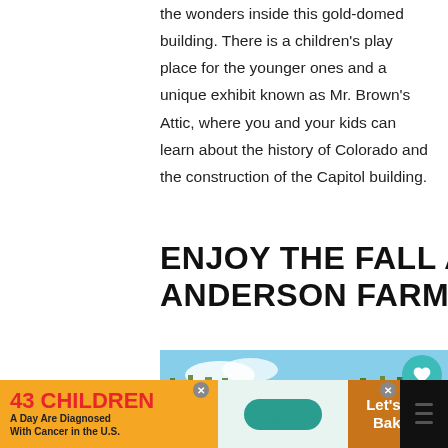the wonders inside this gold-domed building. There is a children's play place for the younger ones and a unique exhibit known as Mr. Brown's Attic, where you and your kids can learn about the history of Colorado and the construction of the Capitol building.
ENJOY THE FALL AT ANDERSON FARMS
[Figure (photo): A child in a black and orange outfit standing in front of hay bales and tall corn stalks at a farm.]
[Figure (infographic): Advertisement banner: '43 CHILDREN A Day Are Diagnosed With Cancer in the U.S.' with cookies for kids' cancer logo and 'Let's Get Baking' text.]